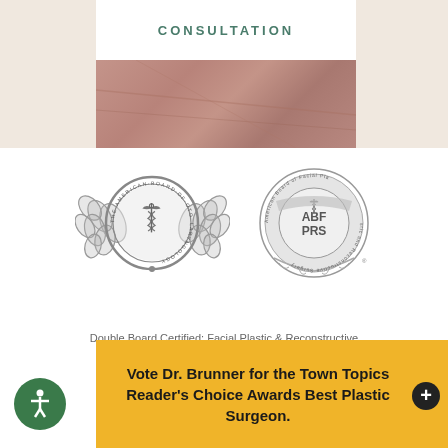CONSULTATION
[Figure (illustration): Two medical board certification seals side by side: American Board of Otolaryngology seal with caduceus and laurel wreath, and American Board of Facial Plastic and Reconstructive Surgery (ABFPRS) seal]
Double Board Certified: Facial Plastic & Reconstructive Surgery & Otolaryngology Head & Neck Surgery
Vote Dr. Brunner for the Town Topics Reader's Choice Awards Best Plastic Surgeon.